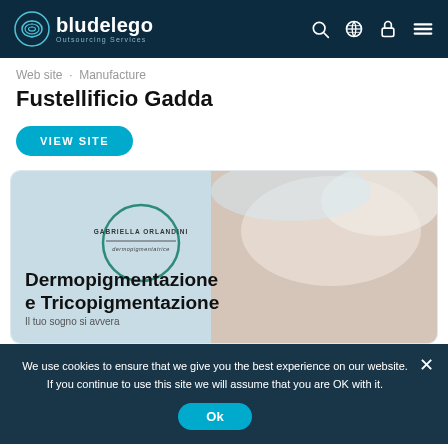bludelego Outsourcing Services — navigation bar
Web site · Manufacture
Fustellificio Gadda
VIEW SITE
[Figure (screenshot): Screenshot of Gabriella Orlandini dermopigmentatrice website showing text 'Dermopigmentazione e Tricopigmentazione' with a circular teal logo and a photo of a cosmetic procedure being performed.]
We use cookies to ensure that we give you the best experience on our website. If you continue to use this site we will assume that you are OK with it.
Web site · Gabriella Orlandini